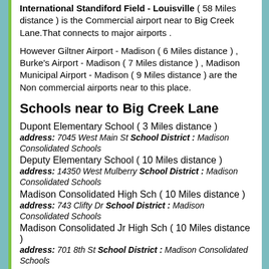International Standiford Field - Louisville ( 58 Miles distance ) is the Commercial airport near to Big Creek Lane.That connects to major airports .
However Giltner Airport - Madison ( 6 Miles distance ) , Burke's Airport - Madison ( 7 Miles distance ) , Madison Municipal Airport - Madison ( 9 Miles distance ) are the Non commercial airports near to this place.
Schools near to Big Creek Lane
Dupont Elementary School ( 3 Miles distance )
address: 7045 West Main St School District : Madison Consolidated Schools
Deputy Elementary School ( 10 Miles distance )
address: 14350 West Mulberry School District : Madison Consolidated Schools
Madison Consolidated High Sch ( 10 Miles distance )
address: 743 Clifty Dr School District : Madison Consolidated Schools
Madison Consolidated Jr High Sch ( 10 Miles distance )
address: 701 8th St School District : Madison Consolidated Schools
Places reachable to Big Creek Lane